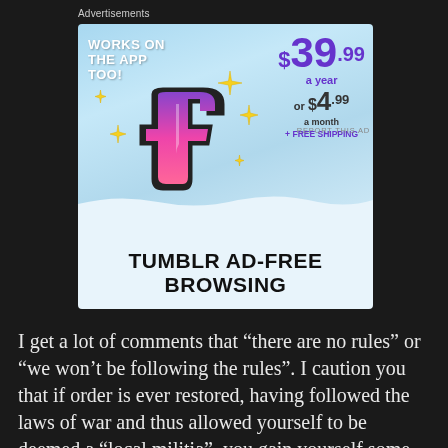Advertisements
[Figure (illustration): Tumblr Ad-Free Browsing advertisement. Shows Tumblr 't' logo with sparkles on a sky background. Text reads: WORKS ON THE APP TOO!, $39.99 a year or $4.99 a month + FREE SHIPPING. TUMBLR AD-FREE BROWSING.]
REPORT THIS AD
I get a lot of comments that “there are no rules” or “we won’t be following the rules”. I caution you that if order is ever restored, having followed the laws of war and thus allowed yourself to be deemed a “local militia”, you gain yourself some powerful legal protection in the